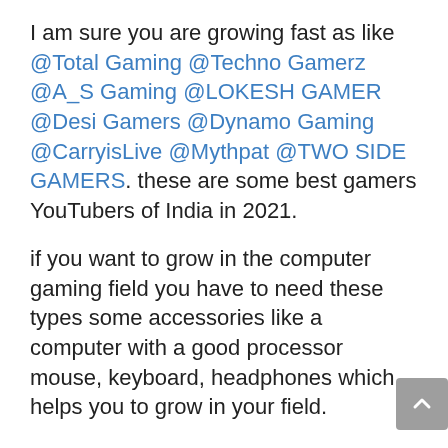I am sure you are growing fast as like @Total Gaming @Techno Gamerz @A_S Gaming @LOKESH GAMER @Desi Gamers @Dynamo Gaming @CarryisLive @Mythpat @TWO SIDE GAMERS. these are some best gamers YouTubers of India in 2021.
if you want to grow in the computer gaming field you have to need these types some accessories like a computer with a good processor mouse, keyboard, headphones which helps you to grow in your field.